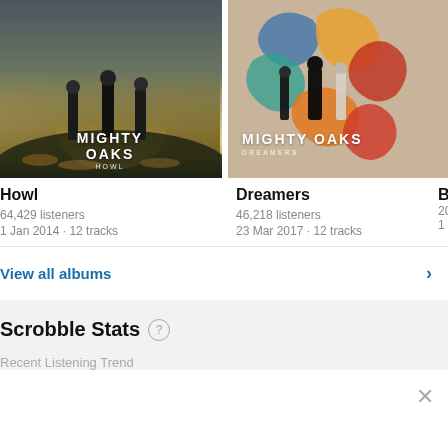[Figure (photo): Mighty Oaks - Howl album cover showing three figures standing on a hillside in dark outdoor setting with album name MIGHTY OAKS and subtitle HOWL]
[Figure (photo): Mighty Oaks - Dreamers album cover showing band members with colorful abstract shapes on beige background with text MIGHTY OAKS DREAMERS]
[Figure (photo): Partial third album cover, dark background, cut off on right edge]
Howl
64,429 listeners
1 Jan 2014 · 12 tracks
Dreamers
46,218 listeners
23 Mar 2017 · 12 tracks
Brot
20,3…
1 Jan
View all albums
Scrobble Stats
Recent Listening Trend